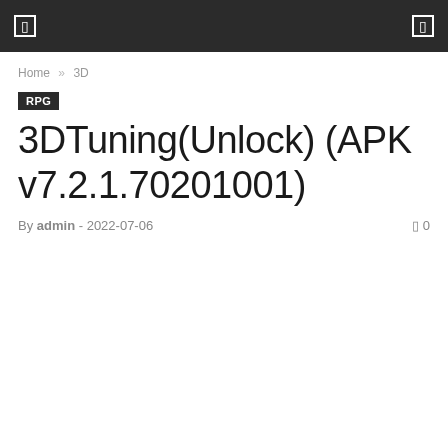Navigation bar with menu icon and action icon
Home » 3D
RPG
3DTuning(Unlock) (APK v7.2.1.70201001)
By admin - 2022-07-06  0